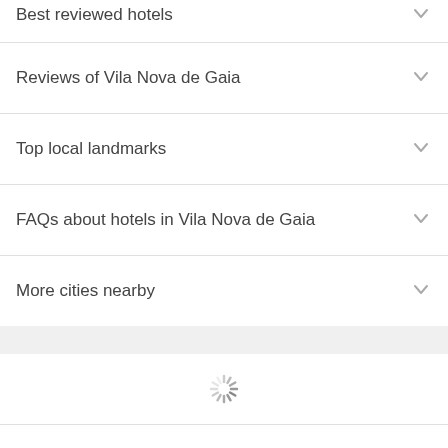Best reviewed hotels
Reviews of Vila Nova de Gaia
Top local landmarks
FAQs about hotels in Vila Nova de Gaia
More cities nearby
[Figure (other): Loading spinner icon]
Research, refine, and make plans for your whole trip